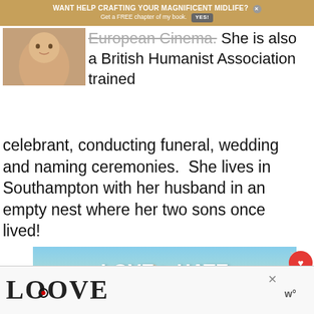WANT HELP CRAFTING YOUR MAGNIFICENT MIDLIFE? Get a FREE chapter of my book. YES!
[Figure (photo): Cropped photo of a person's face/chin area]
European Cinema.  She is also a British Humanist Association trained celebrant, conducting funeral, wedding and naming ceremonies.  She lives in Southampton with her husband in an empty nest where her two sons once lived!
[Figure (photo): Advertisement banner showing hands forming a heart shape with text 'LOVE > HATE']
[Figure (logo): Bottom advertisement with decorative LOOVE text logo and 'w°' brand mark]